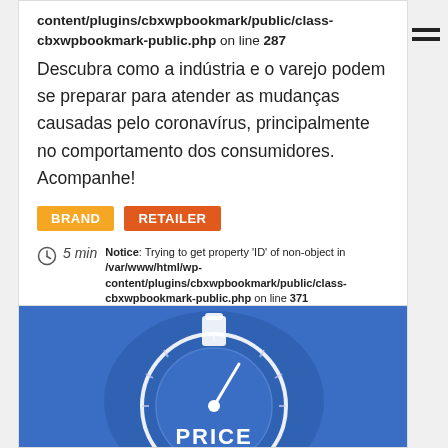content/plugins/cbxwpbookmark/public/class-cbxwpbookmark-public.php on line 287
Descubra como a indústria e o varejo podem se preparar para atender as mudanças causadas pelo coronavírus, principalmente no comportamento dos consumidores. Acompanhe!
BRAND   RETAILER
5 min   Notice: Trying to get property 'ID' of non-object in /var/www/html/wp-content/plugins/cbxwpbookmark/public/class-cbxwpbookmark-public.php on line 371
Notice: Trying to get property 'post_type' of non-object in /var/www/html/wp-content/plugins/cbxwpbookmark/public/class-cbxwpbookmark-public.php on line 372
[Figure (illustration): Blue illustrated image with a speedometer/gauge dial and the word PRICE visible at the bottom]